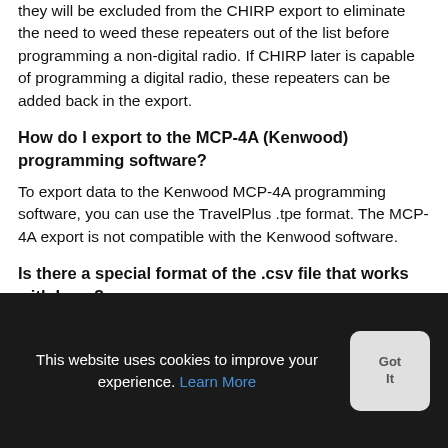they will be excluded from the CHIRP export to eliminate the need to weed these repeaters out of the list before programming a non-digital radio. If CHIRP later is capable of programming a digital radio, these repeaters can be added back in the export.
How do I export to the MCP-4A (Kenwood) programming software?
To export data to the Kenwood MCP-4A programming software, you can use the TravelPlus .tpe format. The MCP-4A export is not compatible with the Kenwood software.
Is there a special format of the .csv file that works with Icom?
This website uses cookies to improve your experience. Learn More